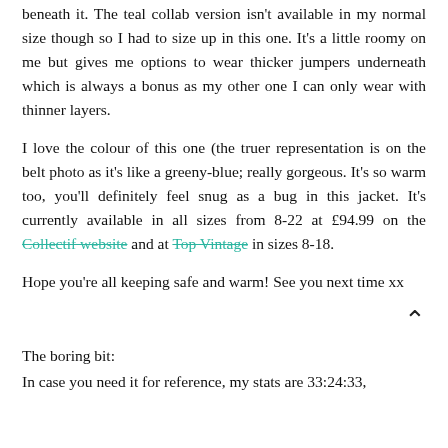beneath it. The teal collab version isn't available in my normal size though so I had to size up in this one. It's a little roomy on me but gives me options to wear thicker jumpers underneath which is always a bonus as my other one I can only wear with thinner layers.
I love the colour of this one (the truer representation is on the belt photo as it's like a greeny-blue; really gorgeous. It's so warm too, you'll definitely feel snug as a bug in this jacket. It's currently available in all sizes from 8-22 at £94.99 on the Collectif website and at Top Vintage in sizes 8-18.
Hope you're all keeping safe and warm! See you next time xx
[Figure (other): Up arrow / caret symbol for back-to-top navigation]
The boring bit:
In case you need it for reference, my stats are 33:24:33,